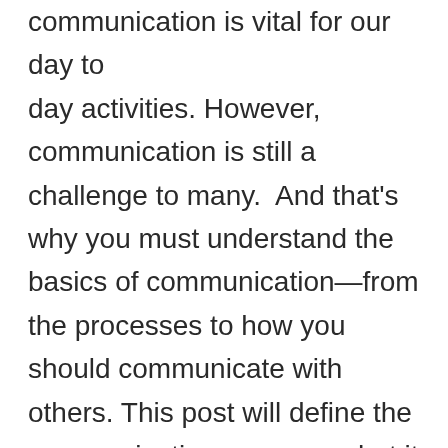Communication is vital for our day to day activities. However, communication is still a challenge to many.  And that's why you must understand the basics of communication—from the processes to how you should communicate with others. This post will define the communication process, what it entails and how you can communicate effectively.